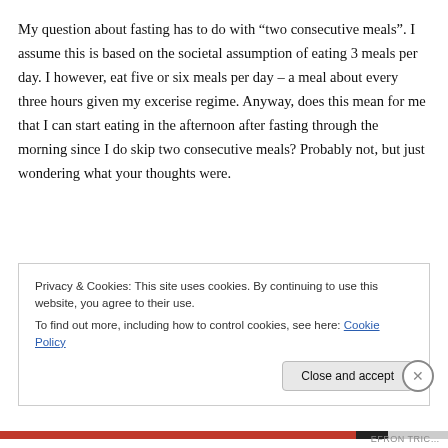My question about fasting has to do with “two consecutive meals”. I assume this is based on the societal assumption of eating 3 meals per day. I however, eat five or six meals per day – a meal about every three hours given my excerise regime. Anyway, does this mean for me that I can start eating in the afternoon after fasting through the morning since I do skip two consecutive meals? Probably not, but just wondering what your thoughts were.
Privacy & Cookies: This site uses cookies. By continuing to use this website, you agree to their use.
To find out more, including how to control cookies, see here: Cookie Policy